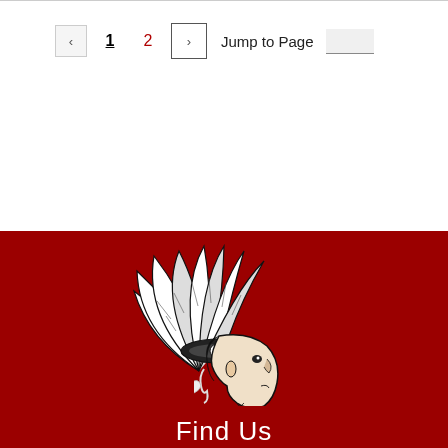Pagination: < 1 2 > Jump to Page
[Figure (logo): Native American chief head profile mascot logo in black and white, with feathered headdress, on a dark red background]
Find Us